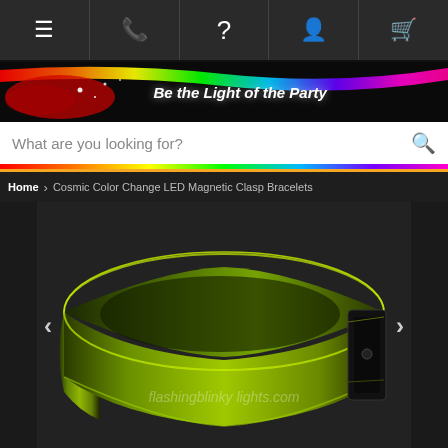Navigation bar with menu, phone, help, account, cart icons
[Figure (illustration): Website banner with rainbow gradient light streaks and text 'Be the Light of the Party' on black background]
What are you looking for?
Home > Cosmic Color Change LED Magnetic Clasp Bracelets
[Figure (photo): Product photo of a Cosmic Color Change LED Magnetic Clasp Bracelet glowing green/yellow on a dark background, with watermark text flashingblinky lights.com and left/right navigation arrows]